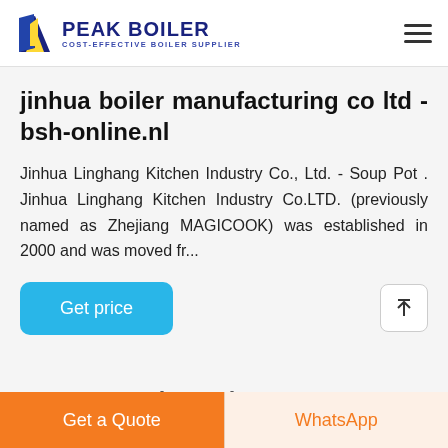PEAK BOILER - COST-EFFECTIVE BOILER SUPPLIER
jinhua boiler manufacturing co ltd - bsh-online.nl
Jinhua Linghang Kitchen Industry Co., Ltd. - Soup Pot . Jinhua Linghang Kitchen Industry Co.LTD. (previously named as Zhejiang MAGICOOK) was established in 2000 and was moved fr...
Get price
Related News
Get a Quote
WhatsApp